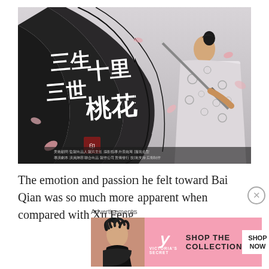[Figure (photo): Movie poster for a Chinese fantasy film (三生三世十里桃花 / Eternal Love / Ten Miles of Peach Blossoms). Shows a male actor in traditional Chinese costume holding a sword, with flowing black fabric and pink petals in the background. Chinese calligraphy title text is displayed on the left side of the poster.]
The emotion and passion he felt toward Bai Qian was so much more apparent when compared with Xu Feng
Advertisements
[Figure (photo): Victoria's Secret advertisement banner. Pink background with a model on the left, Victoria's Secret logo in the center, text reading 'SHOP THE COLLECTION' and a white 'SHOP NOW' button on the right.]